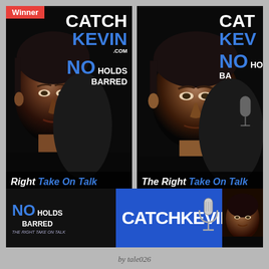[Figure (photo): Winner badge overlay on top-left corner]
[Figure (photo): Left promotional poster for CatchKevin.com showing man's face with text: CATCH KEVIN .com NO HOLDS BARRED, Right Take On Talk]
[Figure (photo): Right promotional poster for CatchKevin.com (cropped) showing man's face with text: CAT KEV NO HO BA, The Right Take On Talk]
[Figure (photo): Horizontal banner: NO HOLDS BARRED THE RIGHT TAKE ON TALK | CATCHKEVIN.com with microphone icon and face thumbnail]
by tale026